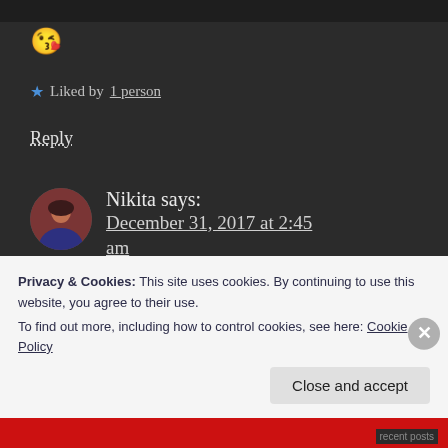😘
★ Liked by 1 person
Reply
Nikita says: December 31, 2017 at 2:45 am
Thank you Samadnya. You
Privacy & Cookies: This site uses cookies. By continuing to use this website, you agree to their use.
To find out more, including how to control cookies, see here: Cookie Policy
Close and accept